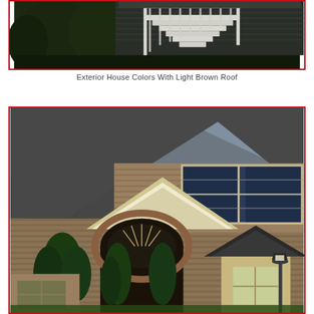[Figure (photo): Photo of exterior house staircase with white painted wooden railings and stairs leading up to a deck, surrounded by green trees and greenish-gray siding. Red border frame.]
Exterior House Colors With Light Brown Roof
[Figure (photo): Photo of a brick house exterior with a gray shingled roof, arched entryway, decorative turret with dark metal cap roof, tall evergreen shrubs, blue shuttered windows, and a lamp post. Red border frame.]